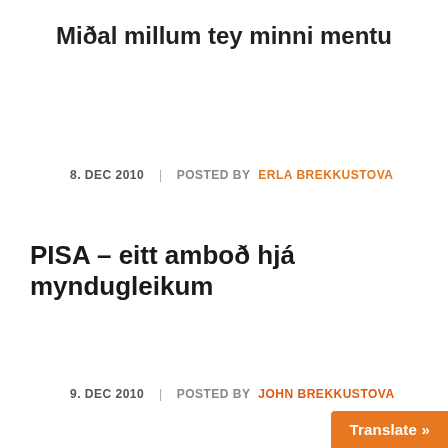Miðal millum tey minni mentu
8. DEC 2010  |  POSTED BY ERLA BREKKUSTOVA
PISA – eitt amboð hjá myndugleikum
9. DEC 2010  |  POSTED BY JOHN BREKKUSTOVA